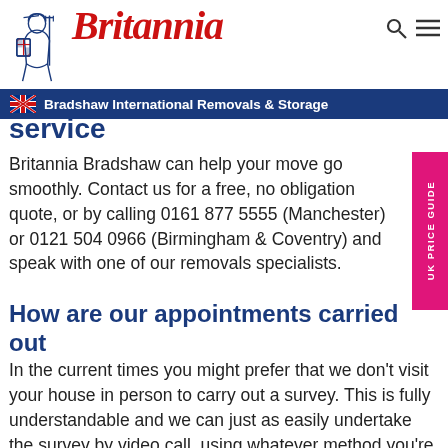Britannia — Bradshaw International Removals & Storage
service
Britannia Bradshaw can help your move go smoothly. Contact us for a free, no obligation quote, or by calling 0161 877 5555 (Manchester) or 0121 504 0966 (Birmingham & Coventry) and speak with one of our removals specialists.
How are our appointments carried out
In the current times you might prefer that we don't visit your house in person to carry out a survey. This is fully understandable and we can just as easily undertake the survey by video call, using whatever method you're